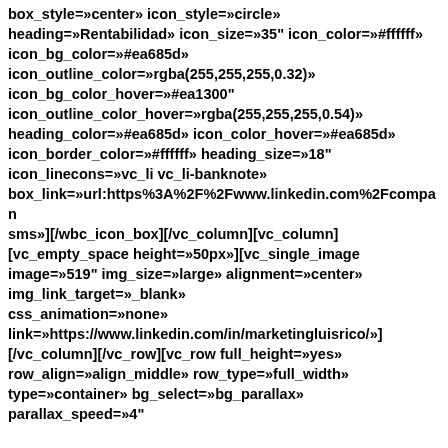box_style=»center» icon_style=»circle» heading=»Rentabilidad» icon_size=»35" icon_color=»#ffffff» icon_bg_color=»#ea685d» icon_outline_color=»rgba(255,255,255,0.32)» icon_bg_color_hover=»#ea1300" icon_outline_color_hover=»rgba(255,255,255,0.54)» heading_color=»#ea685d» icon_color_hover=»#ea685d» icon_border_color=»#ffffff» heading_size=»18" icon_linecons=»vc_li vc_li-banknote» box_link=»url:https%3A%2F%2Fwww.linkedin.com%2Fcompan sms»][/wbc_icon_box][/vc_column][vc_column] [vc_empty_space height=»50px»][vc_single_image image=»519" img_size=»large» alignment=»center» onclick=»custom_link» img_link_target=»_blank» css_animation=»none» link=»https://www.linkedin.com/in/marketingluisrico/»] [/vc_column][/vc_row][vc_row full_height=»yes» row_align=»align_middle» row_type=»full_width» type=»container» bg_select=»bg_parallax» parallax_speed=»4"